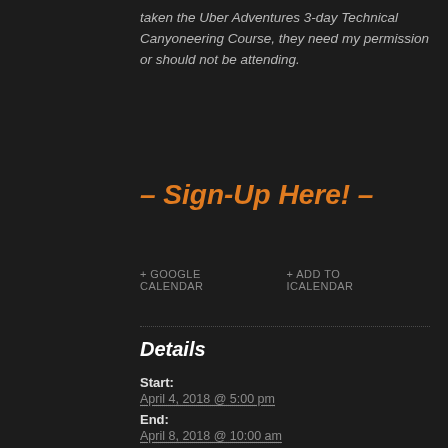taken the Uber Adventures 3-day Technical Canyoneering Course, they need my permission or should not be attending.
– Sign-Up Here! –
+ GOOGLE CALENDAR   + ADD TO ICALENDAR
Details
Start:
April 4, 2018 @ 5:00 pm
End:
April 8, 2018 @ 10:00 am
Cost:
$45